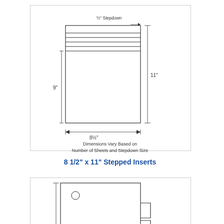[Figure (engineering-diagram): Technical drawing of 8.5x11 inch stepped inserts showing top stepped/tabbed section with horizontal lines, dimension annotations: 1/2 inch stepdown at top right, 9 inch height on left side, 11 inch height on right side, 8.5 inch width at bottom. Note: Dimensions Vary Based on Number of Sheets and Stepdown Size.]
Dimensions Vary Based on
Number of Sheets and Stepdown Size
8 1/2" x 11" Stepped Inserts
[Figure (engineering-diagram): Technical drawing of a second insert type showing a rectangular sheet with a tab cutout on the right side and a hole punch circle on the left side. Dimension annotation shows 11 inch height on the left side.]